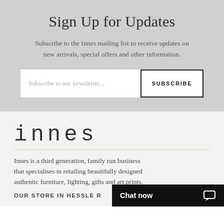Sign Up for Updates
Subscribe to the Innes mailing list to receive updates on new arrivals, special offers and other information.
[Figure (screenshot): Email newsletter subscription input field with placeholder text 'Subscribe to our newsletter...' and a SUBSCRIBE button]
[Figure (logo): Innes brand logo in thin monospace font]
Innes is a third generation, family run business that specialises in retailing beautifully designed authentic furniture, lighting, gifts and art prints.
OUR STORE IN HESSLE R
[Figure (screenshot): Chat now button bar at bottom right corner in black with white text and chat icon]